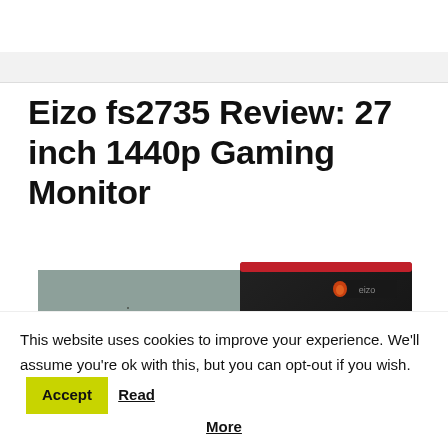Eizo fs2735 Review: 27 inch 1440p Gaming Monitor
[Figure (photo): Two monitor images side by side: left shows a gaming monitor displaying a dark post-apocalyptic game scene with a male character; right shows the back of an Eizo gaming monitor with red accents and Eizo logo.]
This website uses cookies to improve your experience. We'll assume you're ok with this, but you can opt-out if you wish. Accept Read More